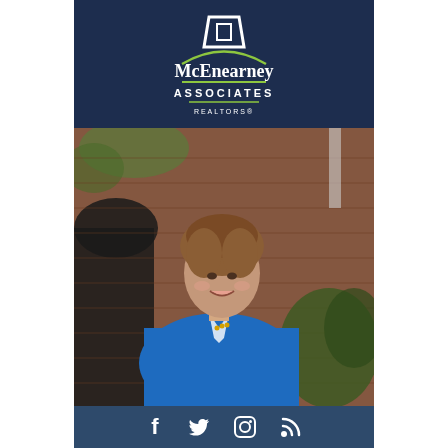[Figure (logo): McEnearney Associates Realtors logo with white trapezoid icon and text on dark navy background]
[Figure (photo): Professional headshot of a woman with short brown hair wearing a bright blue blazer, standing in front of a brick wall with greenery]
[Figure (infographic): Dark navy footer bar with social media icons: Facebook (f), Twitter bird, Instagram camera, RSS feed symbol]